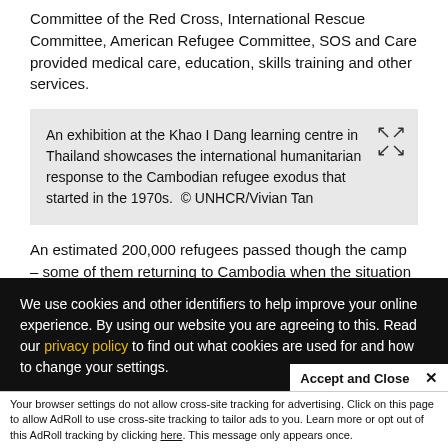Committee of the Red Cross, International Rescue Committee, American Refugee Committee, SOS and Care provided medical care, education, skills training and other services.
An exhibition at the Khao I Dang learning centre in Thailand showcases the international humanitarian response to the Cambodian refugee exodus that started in the 1970s.  © UNHCR/Vivian Tan
An estimated 200,000 refugees passed though the camp – some of them returning to Cambodia when the situation improved, others resettling to third countries including
We use cookies and other identifiers to help improve your online experience. By using our website you are agreeing to this. Read our privacy policy to find out what cookies are used for and how to change your settings.
Accept and Close ✕
Your browser settings do not allow cross-site tracking for advertising. Click on this page to allow AdRoll to use cross-site tracking to tailor ads to you. Learn more or opt out of this AdRoll tracking by clicking here. This message only appears once.